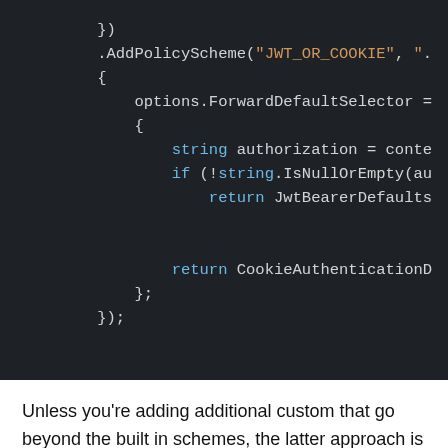[Figure (screenshot): Dark-themed code editor screenshot showing C# authentication setup code with .AddPolicyScheme, options.ForwardDefaultSelector, string authorization, if (!string.IsNullOrEmpty), return JwtBearerDefaults, and return CookieAuthentication lines.]
Unless you're adding additional custom that go beyond the built in schemes, the latter approach is the better way to go as it will work without requiring any changes to [Authorize] attributes which otherwise require explicit